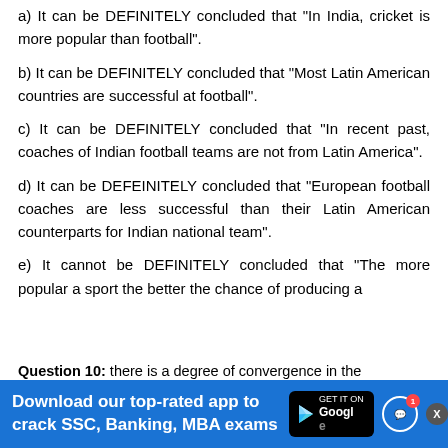a) It can be DEFINITELY concluded that "In India, cricket is more popular than football".
b) It can be DEFINITELY concluded that "Most Latin American countries are successful at football".
c) It can be DEFINITELY concluded that "In recent past, coaches of Indian football teams are not from Latin America".
d) It can be DEFEINITELY concluded that "European football coaches are less successful than their Latin American counterparts for Indian national team".
e) It cannot be DEFINITELY concluded that "The more popular a sport the better the chance of producing a
Question 10:    there is a degree of convergence in the